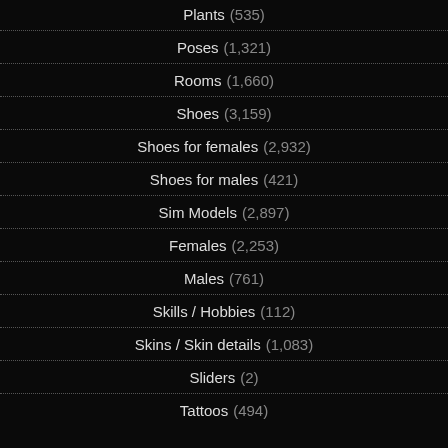Plants (535)
Poses (1,321)
Rooms (1,660)
Shoes (3,159)
Shoes for females (2,932)
Shoes for males (421)
Sim Models (2,897)
Females (2,253)
Males (761)
Skills / Hobbies (112)
Skins / Skin details (1,083)
Sliders (2)
Tattoos (494)